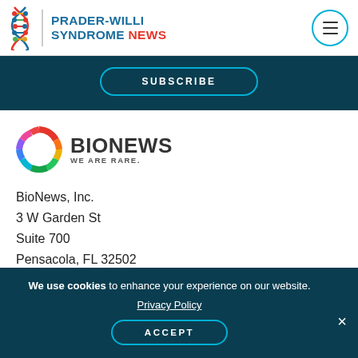PRADER-WILLI SYNDROME NEWS
SUBSCRIBE
[Figure (logo): BioNews logo with colorful circular icon and text 'BIONEWS WE ARE RARE.']
BioNews, Inc.
3 W Garden St
Suite 700
Pensacola, FL 32502
Website: bionews.com
We use cookies to enhance your experience on our website. Privacy Policy ACCEPT